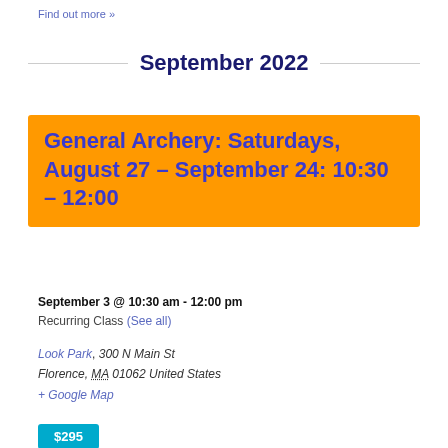Find out more »
September 2022
General Archery: Saturdays, August 27 – September 24: 10:30 – 12:00
September 3 @ 10:30 am - 12:00 pm
Recurring Class (See all)
Look Park, 300 N Main St Florence, MA 01062 United States + Google Map
$295